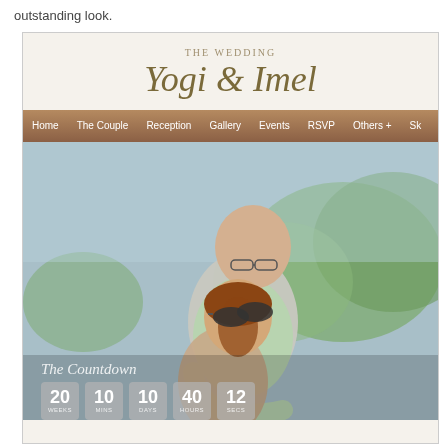outstanding look.
[Figure (screenshot): Screenshot of a wedding website for 'Yogi & Imel' showing a header with the couple's name in italic script, a navigation bar with links (Home, The Couple, Reception, Gallery, Events, RSVP, Others+, S...), a large photo of a couple embracing outdoors, a countdown section labeled 'The Countdown' with boxes showing 20 WEEKS, 10 MINS, 10 DAYS, 40 HOURS, 12 SECS]